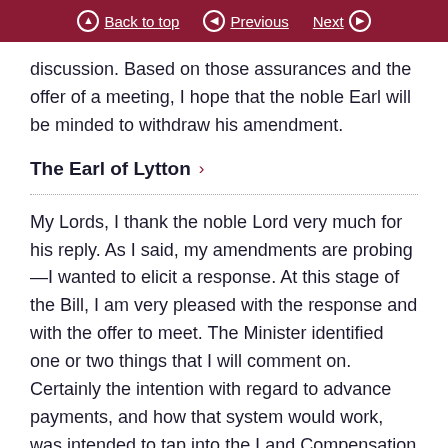Back to top   Previous   Next
discussion. Based on those assurances and the offer of a meeting, I hope that the noble Earl will be minded to withdraw his amendment.
The Earl of Lytton ›
My Lords, I thank the noble Lord very much for his reply. As I said, my amendments are probing—I wanted to elicit a response. At this stage of the Bill, I am very pleased with the response and with the offer to meet. The Minister identified one or two things that I will comment on. Certainly the intention with regard to advance payments, and how that system would work, was intended to tap into the Land Compensation Act regulatory power